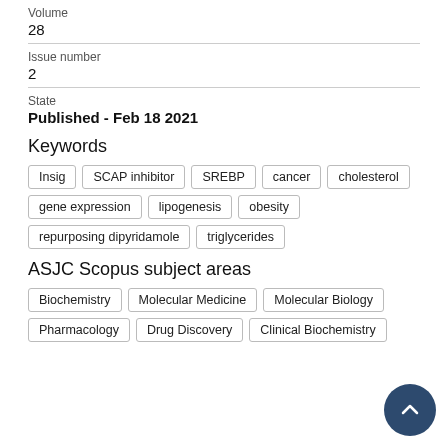Volume
28
Issue number
2
State
Published - Feb 18 2021
Keywords
Insig
SCAP inhibitor
SREBP
cancer
cholesterol
gene expression
lipogenesis
obesity
repurposing dipyridamole
triglycerides
ASJC Scopus subject areas
Biochemistry
Molecular Medicine
Molecular Biology
Pharmacology
Drug Discovery
Clinical Biochemistry